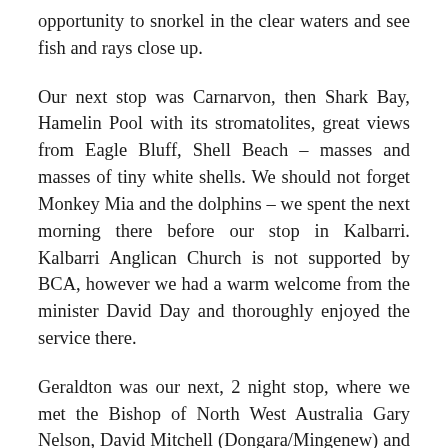opportunity to snorkel in the clear waters and see fish and rays close up.
Our next stop was Carnarvon, then Shark Bay, Hamelin Pool with its stromatolites, great views from Eagle Bluff, Shell Beach – masses and masses of tiny white shells. We should not forget Monkey Mia and the dolphins – we spent the next morning there before our stop in Kalbarri. Kalbarri Anglican Church is not supported by BCA, however we had a warm welcome from the minister David Day and thoroughly enjoyed the service there.
Geraldton was our next, 2 night stop, where we met the Bishop of North West Australia Gary Nelson, David Mitchell (Dongara/Mingenew) and Roger and Amanda Kyngdon and children (Bluff Point). David thanked us all for supporting BCA financially by travelling on this tour.